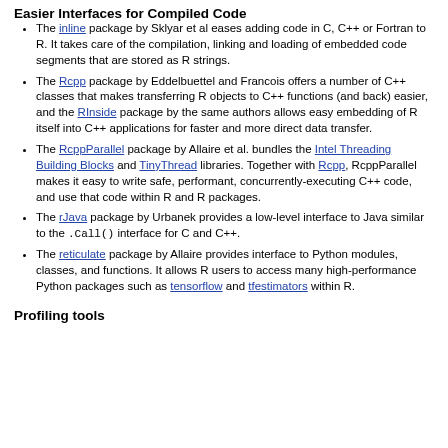Easier Interfaces for Compiled Code
The inline package by Sklyar et al eases adding code in C, C++ or Fortran to R. It takes care of the compilation, linking and loading of embedded code segments that are stored as R strings.
The Rcpp package by Eddelbuettel and Francois offers a number of C++ classes that makes transferring R objects to C++ functions (and back) easier, and the RInside package by the same authors allows easy embedding of R itself into C++ applications for faster and more direct data transfer.
The RcppParallel package by Allaire et al. bundles the Intel Threading Building Blocks and TinyThread libraries. Together with Rcpp, RcppParallel makes it easy to write safe, performant, concurrently-executing C++ code, and use that code within R and R packages.
The rJava package by Urbanek provides a low-level interface to Java similar to the .Call() interface for C and C++.
The reticulate package by Allaire provides interface to Python modules, classes, and functions. It allows R users to access many high-performance Python packages such as tensorflow and tfestimators within R.
Profiling tools